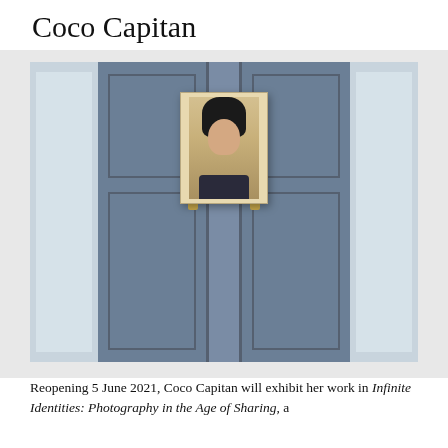Coco Capitan
[Figure (photo): Gallery installation photo showing a portrait painting hung on a blue-gray wall between two large paneled doors with brass handles, flanked by windows showing exterior greenery.]
Reopening 5 June 2021, Coco Capitan will exhibit her work in Infinite Identities: Photography in the Age of Sharing, a